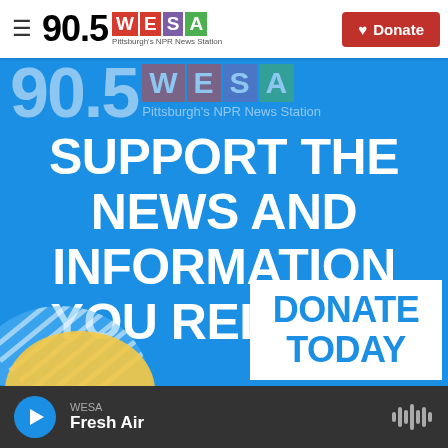90.5 WESA Pittsburgh's NPR News Station | Donate
[Figure (screenshot): WESA 90.5 NPR News Station promotional banner on blue background with text: SUPPORT THE NEWS AND INFORMATION YOU RELY ON. and a DONATE TODAY button. Bottom shows player bar with Fresh Air playing.]
SUPPORT THE NEWS AND INFORMATION YOU RELY ON.
DONATE TODAY
WESA
Fresh Air